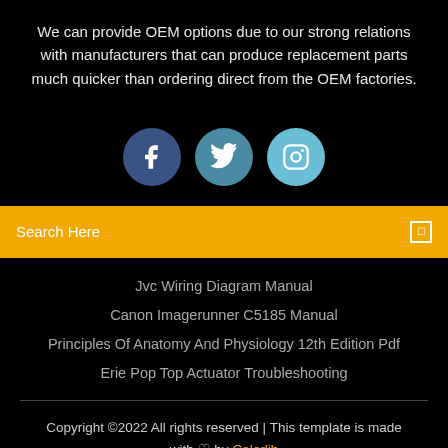We can provide OEM options due to our strong relations with manufacturers that can produce replacement parts much quicker than ordering direct from the OEM factories.
[Figure (illustration): Three social media icon circles: Facebook (dark blue), Twitter (medium teal-blue), Instagram (light blue), each with white icons on black background.]
Search Here
Jvc Wiring Diagram Manual
Canon Imagerunner C5185 Manual
Principles Of Anatomy And Physiology 12th Edition Pdf
Erie Pop Top Actuator Troubleshooting
Copyright ©2022 All rights reserved | This template is made with ♡ by Colorlib